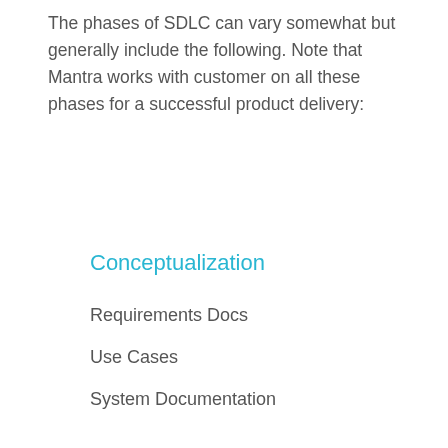The phases of SDLC can vary somewhat but generally include the following. Note that Mantra works with customer on all these phases for a successful product delivery:
Conceptualization
Requirements Docs
Use Cases
System Documentation